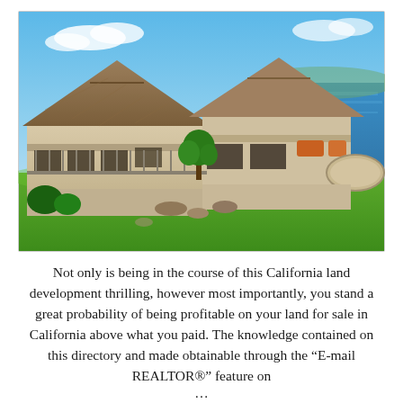[Figure (photo): Aerial/ground view of a large luxury house with hip roofs, covered verandas, and an ocean/coastal view in the background. Green lawn in foreground, blue sky and ocean in background.]
Not only is being in the course of this California land development thrilling, however most importantly, you stand a great probability of being profitable on your land for sale in California above what you paid. The knowledge contained on this directory and made obtainable through the “E-mail REALTOR®” feature on
...